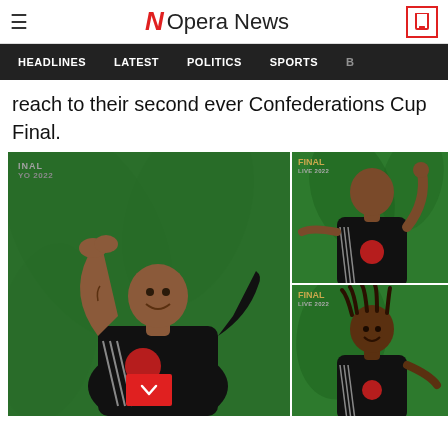Opera News
HEADLINES   LATEST   POLITICS   SPORTS
reach to their second ever Confederations Cup Final.
[Figure (photo): Orlando Pirates players celebrating, three photos arranged in a grid: large left photo of a smiling player gesturing with clasped hands, top-right photo of player pointing up, bottom-right photo of another player smiling. All on green background with 'FINAL LIVE 2022' badge and Adidas/Vodacom kit.]